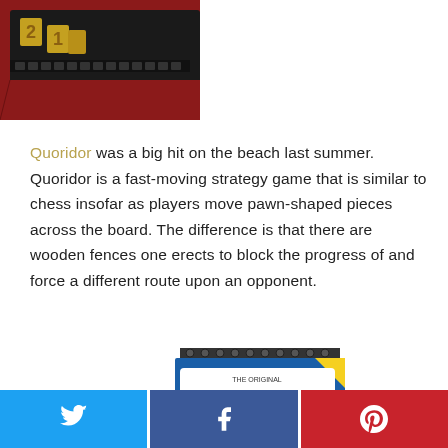[Figure (photo): Partial photo of a board game (Quoridor) showing the game board with golden number tiles on a dark red base, viewed from an angle, cropped at top of page.]
Quoridor was a big hit on the beach last summer. Quoridor is a fast-moving strategy game that is similar to chess insofar as players move pawn-shaped pieces across the board. The difference is that there are wooden fences one erects to block the progress of and force a different route upon an opponent.
[Figure (photo): Product photo of Telestrations board game box showing the title 'Telestrations' in blue and white lettering on a spiral-bound sketchbook style box, partially visible at the bottom of the page.]
[Figure (other): Social sharing buttons row: Twitter (blue), Facebook (dark blue), Pinterest (red), each with white icons.]